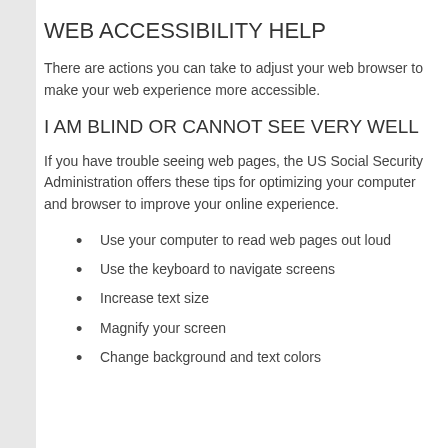WEB ACCESSIBILITY HELP
There are actions you can take to adjust your web browser to make your web experience more accessible.
I AM BLIND OR CANNOT SEE VERY WELL
If you have trouble seeing web pages, the US Social Security Administration offers these tips for optimizing your computer and browser to improve your online experience.
Use your computer to read web pages out loud
Use the keyboard to navigate screens
Increase text size
Magnify your screen
Change background and text colors